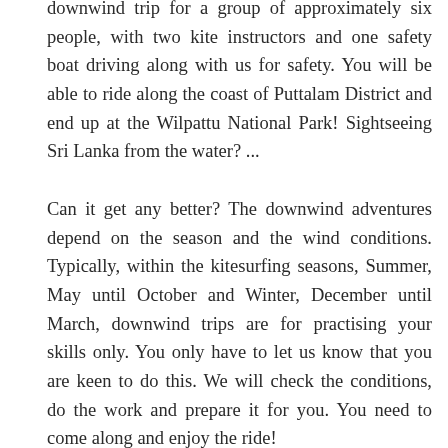downwind trip for a group of approximately six people, with two kite instructors and one safety boat driving along with us for safety. You will be able to ride along the coast of Puttalam District and end up at the Wilpattu National Park! Sightseeing Sri Lanka from the water? ...
Can it get any better? The downwind adventures depend on the season and the wind conditions. Typically, within the kitesurfing seasons, Summer, May until October and Winter, December until March, downwind trips are for practising your skills only. You only have to let us know that you are keen to do this. We will check the conditions, do the work and prepare it for you. You need to come along and enjoy the ride!